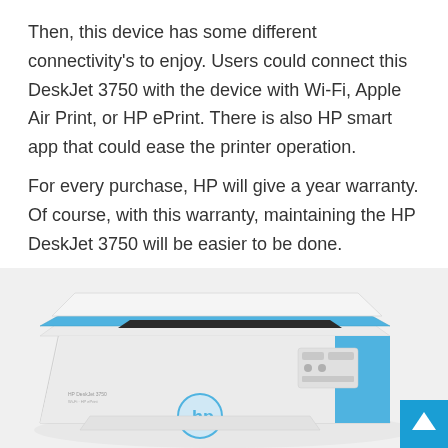Then, this device has some different connectivity's to enjoy. Users could connect this DeskJet 3750 with the device with Wi-Fi, Apple Air Print, or HP ePrint. There is also HP smart app that could ease the printer operation.
For every purchase, HP will give a year warranty. Of course, with this warranty, maintaining the HP DeskJet 3750 will be easier to be done.
[Figure (photo): HP DeskJet 3750 printer in white and blue color, shown from a front-angle view. The printer has a blue accent stripe along the top and a blue HP logo on the front panel, with control buttons visible on the right side.]